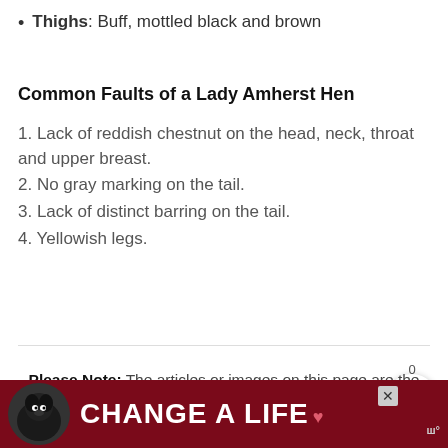Thighs: Buff, mottled black and brown
Common Faults of a Lady Amherst Hen
1. Lack of reddish chestnut on the head, neck, throat and upper breast.
2. No gray marking on the tail.
3. Lack of distinct barring on the tail.
4. Yellowish legs.
Please Note: The articles or images on this page are the sole property of the authors or photographers. Please contact them directly with respect to any copyright or licensing questions. Thank you.
[Figure (other): Advertisement banner showing a black labrador dog with text CHANGE A LIFE on a dark red background]